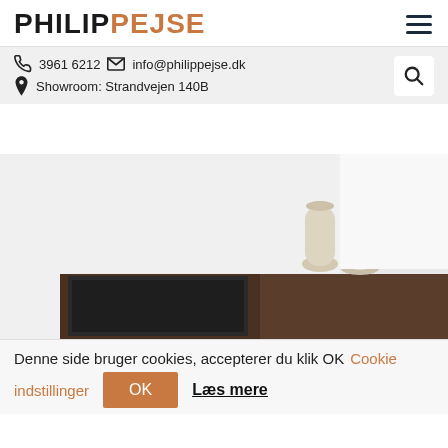PHILIP PEJSE
3961 6212  info@philippejse.dk  Showroom: Strandvejen 140B
[Figure (photo): A modern fireplace cabinet unit with dark wood finish and glass door, with two glass vases on top, against a white/light gray wall background.]
Denne side bruger cookies, accepterer du klik OK  Cookie indstillinger  OK  Læs mere